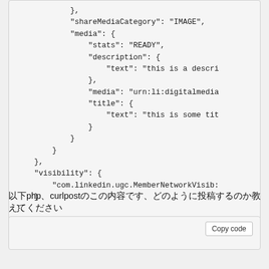},
"shareMediaCategory": "IMAGE",
"media": {
    "stats": "READY",
    "description": {
        "text": "this is a descri
    },
    "media": "urn:li:digitalmedia
    "title": {
        "text": "this is some tit
    }
}
},
"visibility": {
    "com.linkedin.ugc.MemberNetworkVisib:
}
}
php curl post
[Figure (screenshot): Copy code button area]